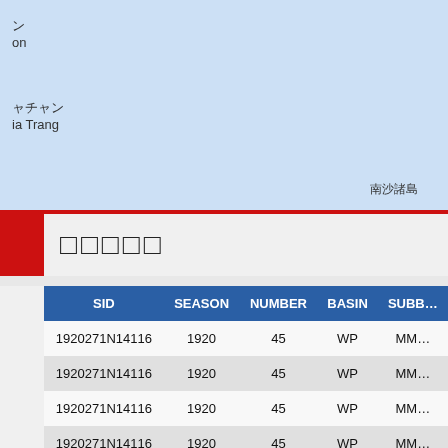[Figure (map): Map showing Southeast Asian region with Japanese labels. Shows 'ン' / 'on' label at top left, 'ャチャン' / 'ia Trang' label at middle left, and '南沙諸島' label at bottom right. Blue ocean background.]
□□□□□
| SID | SEASON | NUMBER | BASIN | SUBB... |
| --- | --- | --- | --- | --- |
| 1920271N14116 | 1920 | 45 | WP | MM... |
| 1920271N14116 | 1920 | 45 | WP | MM... |
| 1920271N14116 | 1920 | 45 | WP | MM... |
| 1920271N14116 | 1920 | 45 | WP | MM... |
| 1920271N14116 | 1920 | 45 | WP | MM... |